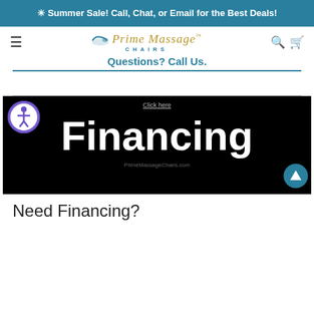☀ Summer Sale! Call, Chat, or Email for the Best Deals!
[Figure (logo): Prime Massage Chairs logo with reclining chair icon, brand name in gold italic serif and teal sans-serif letters]
Questions? Call Us.
[Figure (infographic): Black banner image with 'Click here' text at top, large white bold 'Financing' text, and 'PrimeMassageChairs.com' at bottom. Accessibility icon on left, scroll-up button on right.]
Need Financing?